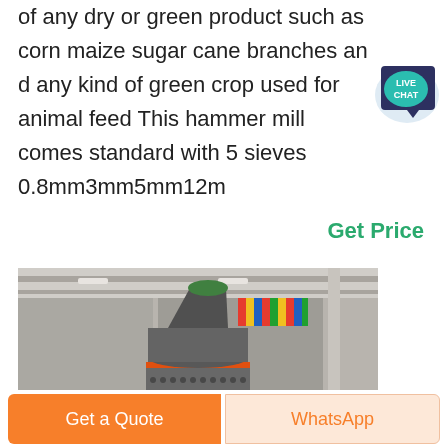of any dry or green product such as corn maize sugar cane branches an d any kind of green crop used for animal feed This hammer mill comes standard with 5 sieves 0.8mm3mm5mm12m
[Figure (logo): Live Chat speech bubble icon in teal/dark blue]
Get Price
[Figure (photo): Industrial hammer mill machine inside a large factory hall with international flags hanging from the roof structure]
Get a Quote
WhatsApp